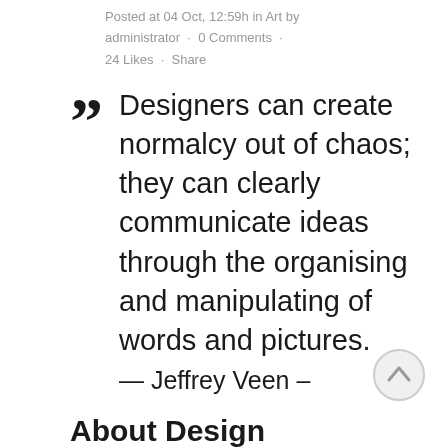Posted at 04 Oct, 12:59h in Art by administrator · 0 Comments · 24 Likes · Share
Designers can create normalcy out of chaos; they can clearly communicate ideas through the organising and manipulating of words and pictures. — Jeffrey Veen – About Design
[Figure (other): Circular scroll-to-top button with upward arrow icon]